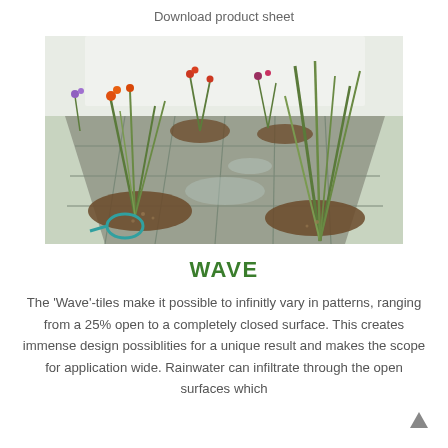Download product sheet
[Figure (photo): Garden photo showing ornamental grasses and flowering plants growing through paved surfaces with circular cutouts, demonstrating Wave permeable paving tiles with water visible on the surface.]
WAVE
The 'Wave'-tiles make it possible to infinitly vary in patterns, ranging from a 25% open to a completely closed surface. This creates immense design possiblities for a unique result and makes the scope for application wide. Rainwater can infiltrate through the open surfaces which